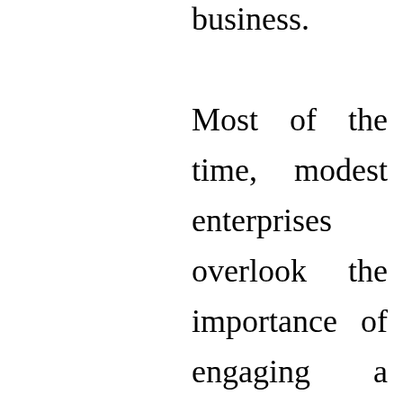business. Most of the time, modest enterprises overlook the importance of engaging a consultant, particularly in the early stages of their organization evolution. But as your consulting organization starts to grow, you may will need enable handling administrative details or enable finishing the actual consulting assignments. To offer Smith